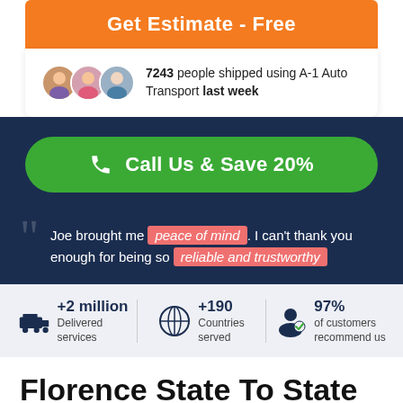Get Estimate - Free
7243 people shipped using A-1 Auto Transport last week
Call Us & Save 20%
Joe brought me peace of mind. I can't thank you enough for being so reliable and trustworthy
+2 million Delivered services
+190 Countries served
97% of customers recommend us
Florence State To State Moving Companies